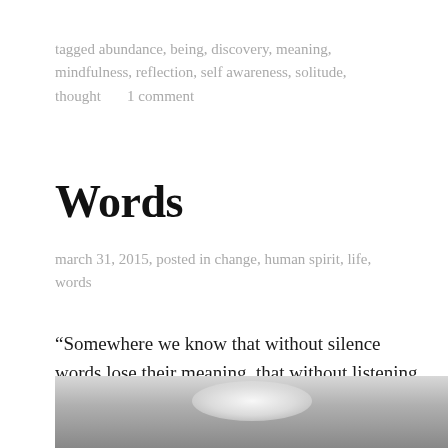tagged abundance, being, discovery, meaning, mindfulness, reflection, self awareness, solitude, thought     1 comment
Words
march 31, 2015, posted in change, human spirit, life, words
“Somewhere we know that without silence words lose their meaning, that without listening speaking no longer heals, that without distance closeness cannot cure.” ~ Henri Nouwen
[Figure (photo): A partially visible photograph showing a grey/white gradient scene, likely a landscape or atmospheric image, partially cropped at the bottom of the page.]